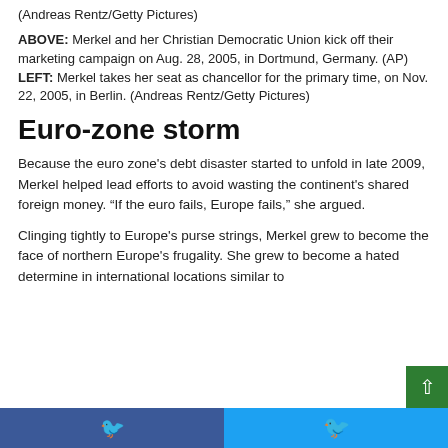(Andreas Rentz/Getty Pictures)
ABOVE: Merkel and her Christian Democratic Union kick off their marketing campaign on Aug. 28, 2005, in Dortmund, Germany. (AP) LEFT: Merkel takes her seat as chancellor for the primary time, on Nov. 22, 2005, in Berlin. (Andreas Rentz/Getty Pictures)
Euro-zone storm
Because the euro zone’s debt disaster started to unfold in late 2009, Merkel helped lead efforts to avoid wasting the continent’s shared foreign money. “If the euro fails, Europe fails,” she argued.
Clinging tightly to Europe’s purse strings, Merkel grew to become the face of northern Europe’s frugality. She grew to become a hated determine in international locations similar to
Facebook  Twitter